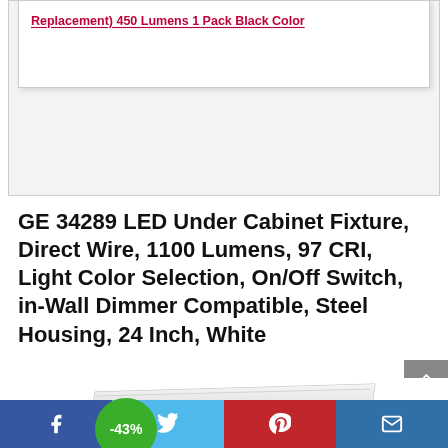Replacement) 450 Lumens 1 Pack Black Color
GE 34289 LED Under Cabinet Fixture, Direct Wire, 1100 Lumens, 97 CRI, Light Color Selection, On/Off Switch, in-Wall Dimmer Compatible, Steel Housing, 24 Inch, White
[Figure (photo): White LED under cabinet light fixture shown at an angle with a green circular badge showing -43% discount]
Facebook | Twitter | Pinterest | Email share icons